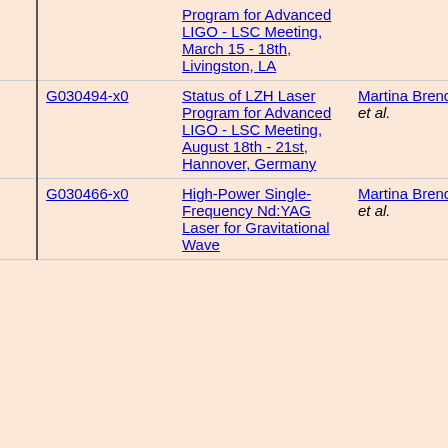|  | ID | Title | Author | Type |  |
| --- | --- | --- | --- | --- | --- |
|  |  | Program for Advanced LIGO - LSC Meeting, March 15 - 18th, Livingston, LA |  |  |  |
|  | G030494-x0 | Status of LZH Laser Program for Advanced LIGO - LSC Meeting, August 18th - 21st, Hannover, Germany | Martina Brendel et al. | Document Migration | 1 |
|  | G030466-x0 | High-Power Single-Frequency Nd:YAG Laser for Gravitational Wave | Martina Brendel et al. | Document Migration | 2 |